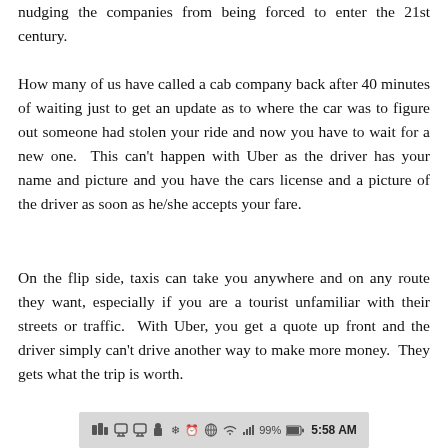nudging the companies from being forced to enter the 21st century.
How many of us have called a cab company back after 40 minutes of waiting just to get an update as to where the car was to figure out someone had stolen your ride and now you have to wait for a new one.  This can't happen with Uber as the driver has your name and picture and you have the cars license and a picture of the driver as soon as he/she accepts your fare.
On the flip side, taxis can take you anywhere and on any route they want, especially if you are a tourist unfamiliar with their streets or traffic.  With Uber, you get a quote up front and the driver simply can't drive another way to make more money.  They gets what the trip is worth.
[Figure (screenshot): Android status bar showing social media icons, Bluetooth, alarm, WiFi, signal strength, 99% battery, and time 5:58 AM]